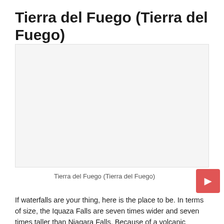Tierra del Fuego (Tierra del Fuego)
[Figure (photo): Placeholder/blank image area for Tierra del Fuego photo]
Tierra del Fuego (Tierra del Fuego)
If waterfalls are your thing, here is the place to be. In terms of size, the Iquaza Falls are seven times wider and seven times taller than Niagara Falls. Because of a volcanic explosion, the Falls were formed, and they now